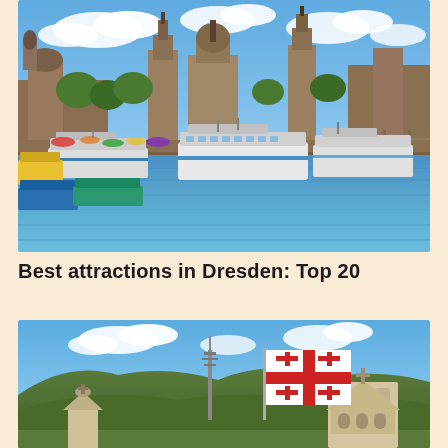[Figure (photo): Dresden waterfront panorama with boats moored on the Elbe river, colorful vessels in foreground, historic Dresden skyline with baroque cathedral and buildings in background, blue sky with clouds]
Best attractions in Dresden: Top 20
[Figure (photo): Georgian landscape with a church/bell tower on the right, the Georgian national flag (white with red cross and four smaller red crosses) flying prominently in the center, mountains/hills in background, clear blue sky with clouds]